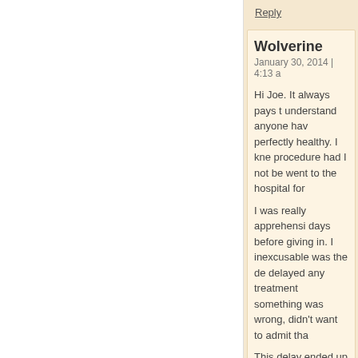Reply
Wolverine
January 30, 2014 | 4:13 a
Hi Joe. It always pays t understand anyone hav perfectly healthy. I kne procedure had I not be went to the hospital for
I was really apprehensi days before giving in. I inexcusable was the de delayed any treatment something was wrong, didn't want to admit tha
This delay ended up co something I did not thi worst case would be lo internal bleeding that w that went on for 3 days obvious when looking a